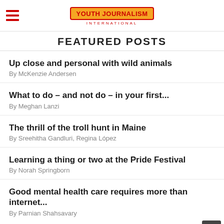Youth Journalism International
FEATURED POSTS
Up close and personal with wild animals
By McKenzie Andersen
What to do – and not do – in your first...
By Meghan Lanzi
The thrill of the troll hunt in Maine
By Sreehitha Gandluri, Regina López
Learning a thing or two at the Pride Festival
By Norah Springborn
Good mental health care requires more than internet...
By Parnian Shahsavary